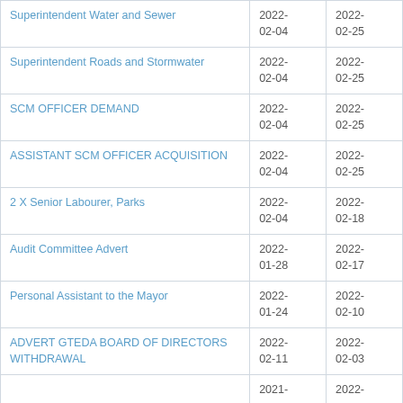| Superintendent Water and Sewer | 2022-02-04 | 2022-02-25 |
| Superintendent Roads and Stormwater | 2022-02-04 | 2022-02-25 |
| SCM OFFICER DEMAND | 2022-02-04 | 2022-02-25 |
| ASSISTANT SCM OFFICER ACQUISITION | 2022-02-04 | 2022-02-25 |
| 2 X Senior Labourer, Parks | 2022-02-04 | 2022-02-18 |
| Audit Committee Advert | 2022-01-28 | 2022-02-17 |
| Personal Assistant to the Mayor | 2022-01-24 | 2022-02-10 |
| ADVERT GTEDA BOARD OF DIRECTORS WITHDRAWAL | 2022-02-11 | 2022-02-03 |
|  | 2021- | 2022- |